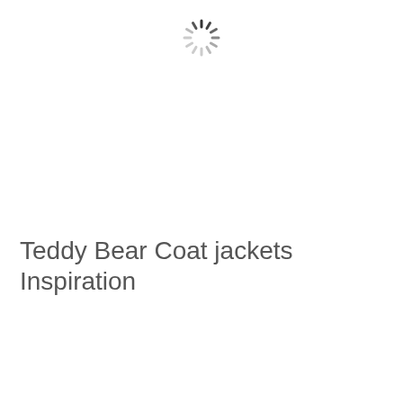[Figure (other): A spinning/loading spinner icon rendered as a circular arrangement of short dashes in varying shades from black to light gray, indicating a loading state.]
Teddy Bear Coat jackets Inspiration